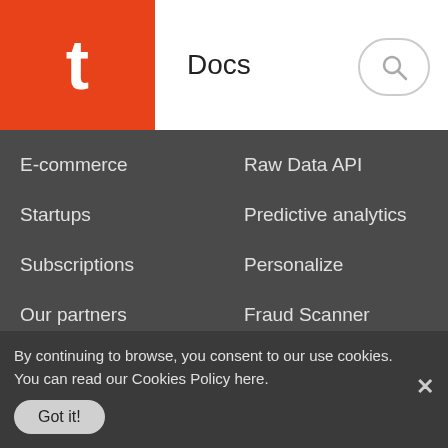[Figure (logo): Orange square with white letter t logo]
Docs
[Figure (other): Search button (magnifying glass icon)]
E-commerce
Raw Data API
Startups
Predictive analytics
Subscriptions
Personalize
Our partners
Fraud Scanner
Revenue tracking
iOS 14.5+ solutions
Getting started
Resources
Pricing
Blog
Documentation
Ebooks
By continuing to browse, you consent to our use cookies. You can read our Cookies Policy here.
Got it!